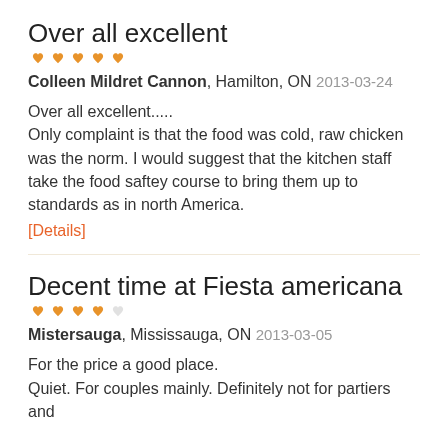Over all excellent
★★★★★ (5 stars filled)
Colleen Mildret Cannon, Hamilton, ON
2013-03-24
Over all excellent.....
Only complaint is that the food was cold, raw chicken was the norm. I would suggest that the kitchen staff take the food saftey course to bring them up to standards as in north America.
[Details]
Decent time at Fiesta americana
★★★★☆ (4 stars filled, 1 empty)
Mistersauga, Mississauga, ON
2013-03-05
For the price a good place.
Quiet. For couples mainly. Definitely not for partiers and